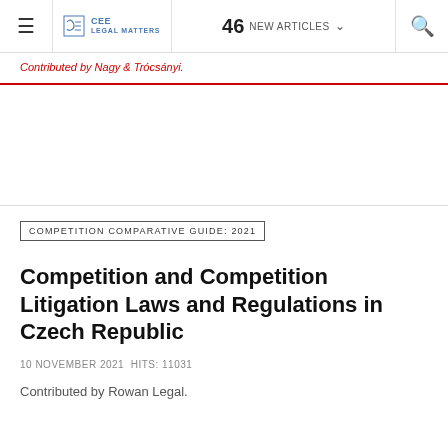≡  CEE LEGAL MATTERS  46 NEW ARTICLES ▾  🔍
Contributed by Nagy & Trócsányi.
COMPETITION COMPARATIVE GUIDE: 2021
Competition and Competition Litigation Laws and Regulations in Czech Republic
10 NOVEMBER 2021  HITS: 11031
Contributed by Rowan Legal.